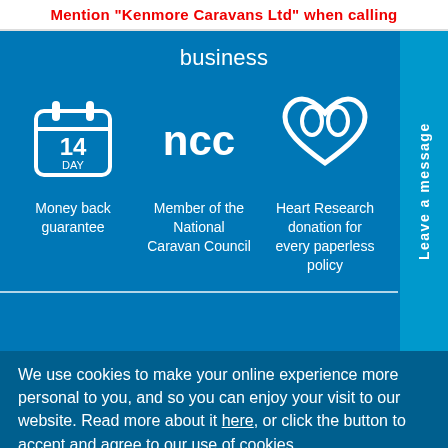Mention "Kenmore Caravans Ltd" when calling
business
[Figure (infographic): Three icons on blue background: 14-day calendar (Money back guarantee), NCC logo (Member of the National Caravan Council), heart/ribbon icon (Heart Research donation for every paperless policy). A vertical blue tab on the right reads 'Leave a message'.]
Money back guarantee
Member of the National Caravan Council
Heart Research donation for every paperless policy
We use cookies to make your online experience more personal to you, and so you can enjoy your visit to our website. Read more about it here, or click the button to accept and agree to our use of cookies.